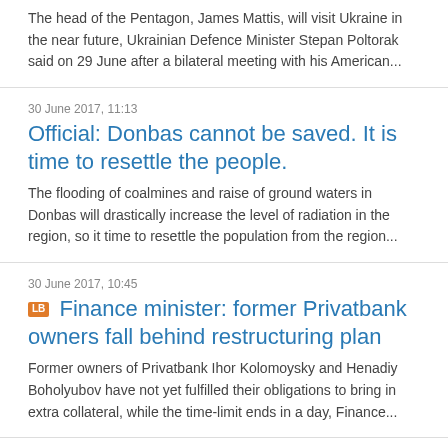The head of the Pentagon, James Mattis, will visit Ukraine in the near future, Ukrainian Defence Minister Stepan Poltorak said on 29 June after a bilateral meeting with his American...
30 June 2017, 11:13
Official: Donbas cannot be saved. It is time to resettle the people.
The flooding of coalmines and raise of ground waters in Donbas will drastically increase the level of radiation in the region, so it time to resettle the population from the region...
30 June 2017, 10:45
Finance minister: former Privatbank owners fall behind restructuring plan
Former owners of Privatbank Ihor Kolomoysky and Henadiy Boholyubov have not yet fulfilled their obligations to bring in extra collateral, while the time-limit ends in a day, Finance...
29 June 2017, 17:41
Eurovision organizers set to fine Ukraine over